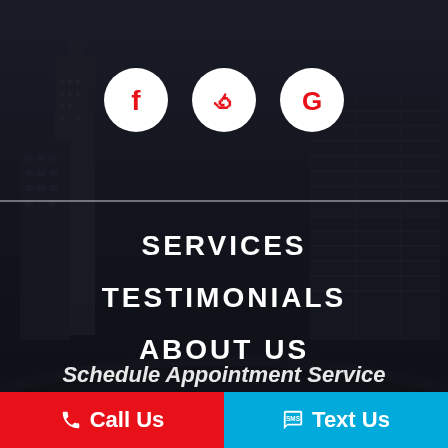[Figure (illustration): Dark cityscape background with overlaid navigation menu. Three social media icons (Facebook, Yelp, Google) in white circles at top. Navigation links in white bold uppercase text: SERVICES, TESTIMONIALS, ABOUT US, BLOG, CONTACT US. Bottom bar split: red Call Us button left, blue Text Us button right. Partially visible 'Schedule Appointment Service' text above bottom bar.]
SERVICES
TESTIMONIALS
ABOUT US
BLOG
CONTACT US
Schedule Appointment Service
Call Us
Text Us